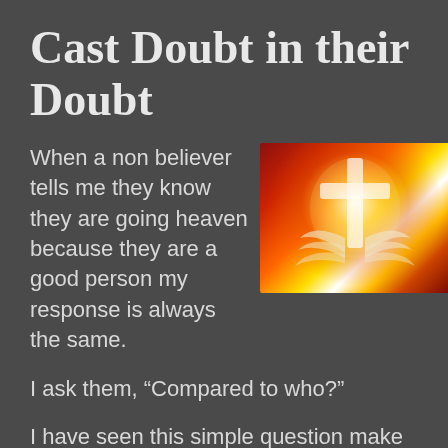Cast Doubt in their Doubt
When a non believer tells me they know they are going heaven because they are a good person my response is always the same.
[Figure (illustration): Glowing cross with wings (dove/angel) on a fiery red and orange background, radiating white light.]
I ask them, “Compared to who?”
I have seen this simple question make the most cynical of scoffers pause and ponder. That’s what we are called to do. To cast doubt in the